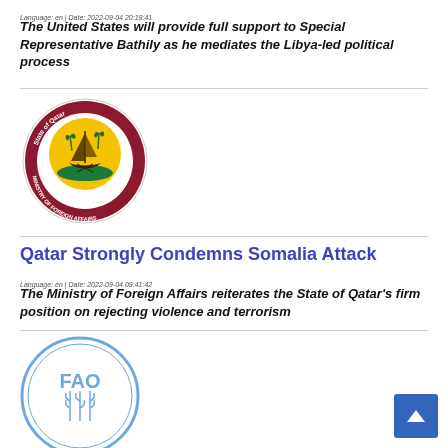Language: en | Date: 2022-09-04 20:18:41
The United States will provide full support to Special Representative Bathily as he mediates the Libya-led political process
[Figure (logo): State of Qatar Ministry of Foreign Affairs circular seal logo]
Qatar Strongly Condemns Somalia Attack
Language: en | Date: 2022-09-04 09:41:42
The Ministry of Foreign Affairs reiterates the State of Qatar's firm position on rejecting violence and terrorism
[Figure (logo): FAO (Food and Agriculture Organization) circular logo in blue]